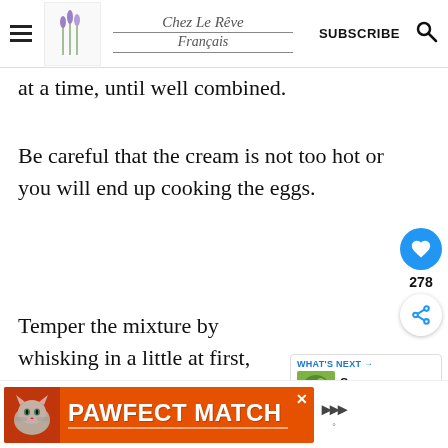Chez Le Rêve Français — SUBSCRIBE
at a time, until well combined.
Be careful that the cream is not too hot or you will end up cooking the eggs.
Temper the mixture by whisking in a little at first, followed by the r
[Figure (other): PAWFECT MATCH advertisement banner with orange background, cat photo, and close button]
WHAT'S NEXT → Creamy Mushroom...